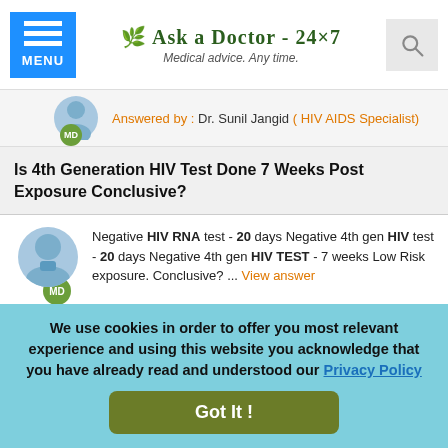Ask a Doctor - 24x7 | Medical advice. Any time.
Answered by : Dr. Sunil Jangid ( HIV AIDS Specialist)
Is 4th Generation HIV Test Done 7 Weeks Post Exposure Conclusive?
Negative HIV RNA test - 20 days Negative 4th gen HIV test - 20 days Negative 4th gen HIV TEST - 7 weeks Low Risk exposure. Conclusive? ... View answer
Answered by : Dr. Sunil Jangid ( HIV AIDS Specialist)
Read More ...
We use cookies in order to offer you most relevant experience and using this website you acknowledge that you have already read and understood our Privacy Policy Got It !